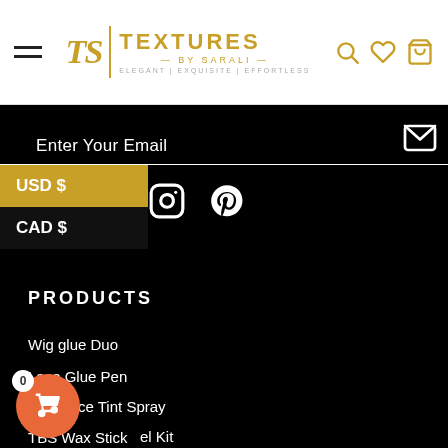Textures by Sarali — ELEGANT | EXQUISITE | EFFORTLESS
Enter Your Email
USD $
CAD $
PRODUCTS
Wig glue Duo
Lace Glue Pen
TBS Lace Tint Spray
Travel Kit
TBS Wax Stick